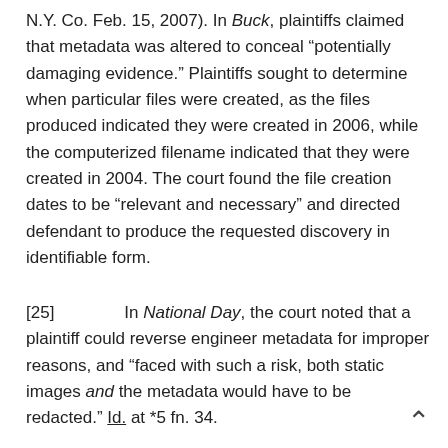N.Y. Co. Feb. 15, 2007). In Buck, plaintiffs claimed that metadata was altered to conceal "potentially damaging evidence." Plaintiffs sought to determine when particular files were created, as the files produced indicated they were created in 2006, while the computerized filename indicated that they were created in 2004. The court found the file creation dates to be "relevant and necessary" and directed defendant to produce the requested discovery in identifiable form.
[25]        In National Day, the court noted that a plaintiff could reverse engineer metadata for improper reasons, and "faced with such a risk, both static images and the metadata would have to be redacted." Id. at *5 fn. 34.